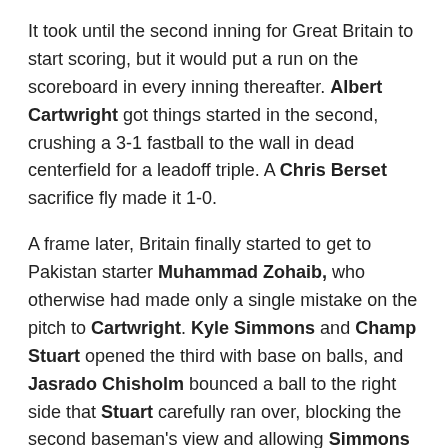It took until the second inning for Great Britain to start scoring, but it would put a run on the scoreboard in every inning thereafter. Albert Cartwright got things started in the second, crushing a 3-1 fastball to the wall in dead centerfield for a leadoff triple. A Chris Berset sacrifice fly made it 1-0.
A frame later, Britain finally started to get to Pakistan starter Muhammad Zohaib, who otherwise had made only a single mistake on the pitch to Cartwright. Kyle Simmons and Champ Stuart opened the third with base on balls, and Jasrado Chisholm bounced a ball to the right side that Stuart carefully ran over, blocking the second baseman's view and allowing Simmons to score. A double play erased Chisholm, but Stuart scored to make it 3-0.